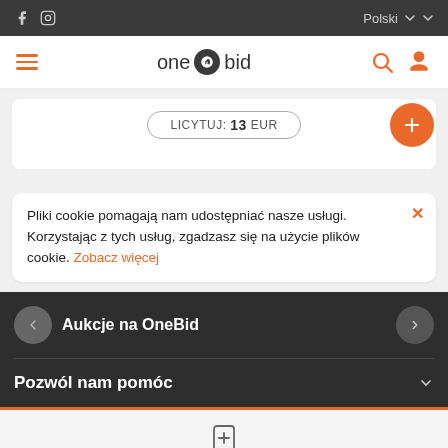OneBid website header with social icons (f, Instagram), Polski language selector, hamburger menu, logo 'one bid', search icon, user icon
LICYTUJ: 13 EUR
Pliki cookie pomagają nam udostępniać nasze usługi. Korzystając z tych usług, zgadzasz się na użycie plików cookie. Zobacz więcej
Aukcje na OneBid
Pozwól nam pomóc
Notatka